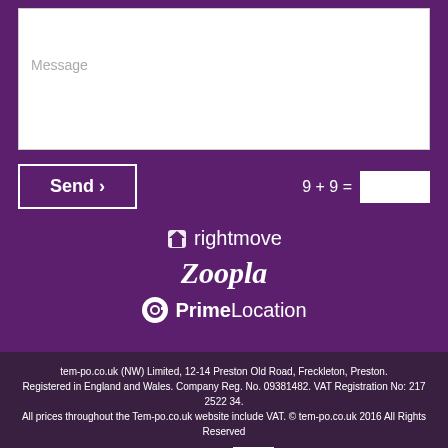[Figure (screenshot): Message textarea input field with placeholder text 'Message' on white background]
[Figure (screenshot): Send button with chevron and CAPTCHA field '9 + 9 =' with blank input box]
[Figure (logo): Rightmove logo in white]
[Figure (logo): Zoopla logo in white bold italic]
[Figure (logo): PrimeLocation logo in white with circular P icon]
tem-po.co.uk (NW) Limited, 12-14 Preston Old Road, Freckleton, Preston. Registered in England and Wales. Company Reg. No. 09381482. VAT Registration No: 217 2522 34. All prices throughout the Tem-po.co.uk website include VAT. © tem-po.co.uk 2016 All Rights Reserved
Site by COOKE CREE